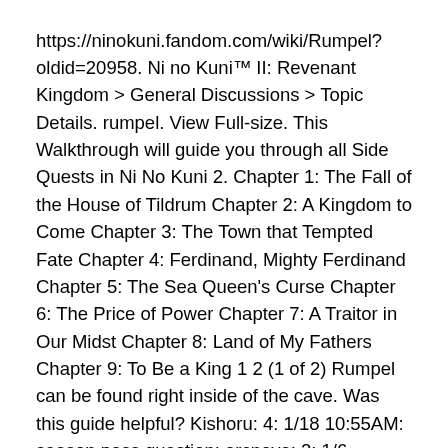https://ninokuni.fandom.com/wiki/Rumpel?oldid=20958. Ni no Kuni™ II: Revenant Kingdom > General Discussions > Topic Details. rumpel. View Full-size. This Walkthrough will guide you through all Side Quests in Ni No Kuni 2. Chapter 1: The Fall of the House of Tildrum Chapter 2: A Kingdom to Come Chapter 3: The Town that Tempted Fate Chapter 4: Ferdinand, Mighty Ferdinand Chapter 5: The Sea Queen's Curse Chapter 6: The Price of Power Chapter 7: A Traitor in Our Midst Chapter 8: Land of My Fathers Chapter 9: To Be a King 1 2 (1 of 2) Rumpel can be found right inside of the cave. Was this guide helpful? Kishoru: 4: 1/18 10:55AM: season pass question: arcnova: 2: 1/6 5:25AM: Mixed feelings on this game: Nathan_Drake : 2: 1/3 11:23AM: Just started. - This article was updated on:March 19th, 2018 GAME DEALSGet Twitch Prime For Free Right Now and get in-game items, rewards, and free games. He can be found in Capstan-upon-Hull after completing Chapter 9 in Ni no Kuni II: Revenant Kingdom. Veteran 0 0 75 55 Rover's Soul A writer's